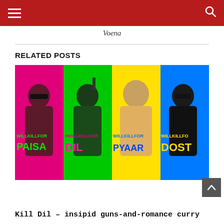Navigation header bar with hamburger menu and search icon
Voena
RELATED POSTS
[Figure (photo): Movie poster for Kill Dil showing four characters against vivid colored backgrounds (pink, green, yellow, blue). Text on poster reads: WILLKILLFOR PAISA, #WILLKILLFOR DIL, WILLKILLFOR PYAAR, WILLKILLFOR DOST]
Kill Dil – insipid guns-and-romance curry